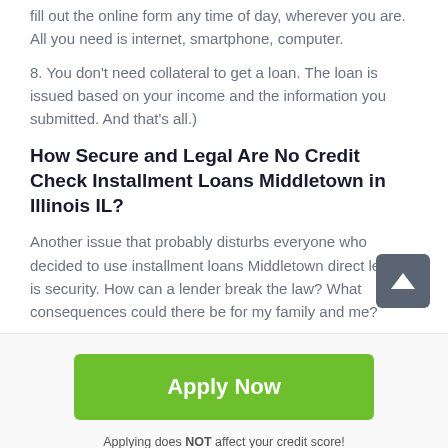fill out the online form any time of day, wherever you are. All you need is internet, smartphone, computer.
8. You don't need collateral to get a loan. The loan is issued based on your income and the information you submitted. And that's all.)
How Secure and Legal Are No Credit Check Installment Loans Middletown in Illinois IL?
Another issue that probably disturbs everyone who decided to use installment loans Middletown direct lenders is security. How can a lender break the law? What consequences could there be for my family and me?
Apply Now
Applying does NOT affect your credit score!
No credit check to apply.